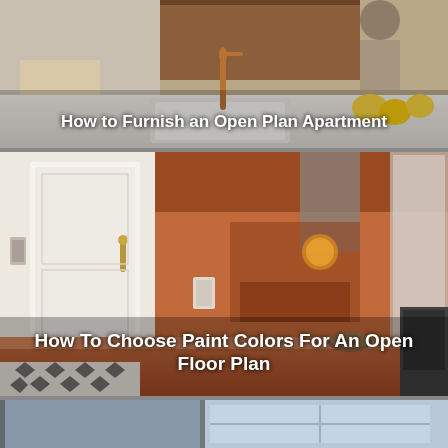[Figure (photo): Modern kitchen with white countertop, white sink, copper faucet, wood cabinets, and lemons. Person chopping in background.]
How to Furnish an Open Plan Apartment
[Figure (photo): Open floor plan apartment with terracotta/orange walls, white door with brass hardware, black and white diamond tile floor, kitchen island in foreground.]
How To Choose Paint Colors For An Open Floor Plan
[Figure (photo): Partial view of another interior room at the bottom of the page, mostly cut off.]